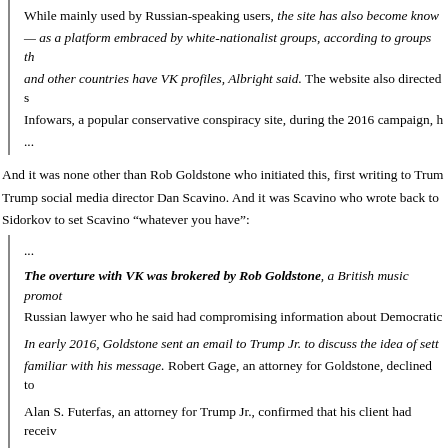While mainly used by Russian-speaking users, the site has also become kno— as a platform embraced by white-nationalist groups, according to groups thand other countries have VK profiles, Albright said. The website also directed Infowars, a popular conservative conspiracy site, during the 2016 campaign, h...
And it was none other than Rob Goldstone who initiated this, first writing to TrumTrump social media director Dan Scavino. And it was Scavino who wrote back toSidorkov to set Scavino “whatever you have”:
...
The overture with VK was brokered by Rob Goldstone, a British music promotRussian lawyer who he said had compromising information about Democratic
In early 2016, Goldstone sent an email to Trump Jr. to discuss the idea of settfamiliar with his message. Robert Gage, an attorney for Goldstone, declined to
Alan S. Futerfas, an attorney for Trump Jr., confirmed that his client had receivthe last discussion about VK that Trump Jr. could recall.
“Goldstone wrote to Donald Trump Jr. early in the year, and he forwarded the imore with the information and had no recollection of or involvement in any furt
At the time, Scavino responded to the idea enthusiastically.
“Please feel free to send me whatever you have,” Scavino wrote to GoldstoneMr. Trump and his presidential campaign.”